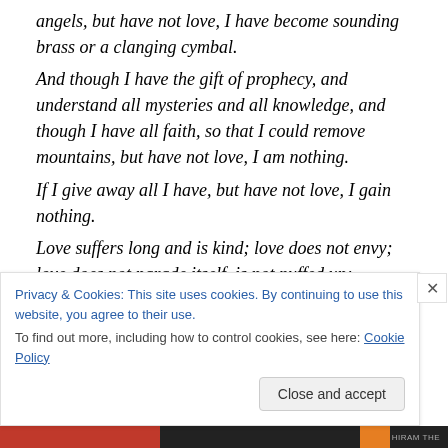angels, but have not love, I have become sounding brass or a clanging cymbal.
And though I have the gift of prophecy, and understand all mysteries and all knowledge, and though I have all faith, so that I could remove mountains, but have not love, I am nothing.
If I give away all I have, but have not love, I gain nothing.
Love suffers long and is kind; love does not envy; love does not parade itself, is not puffed up;
does not behave rudely, does not seek its own, is not
Privacy & Cookies: This site uses cookies. By continuing to use this website, you agree to their use.
To find out more, including how to control cookies, see here: Cookie Policy
Close and accept